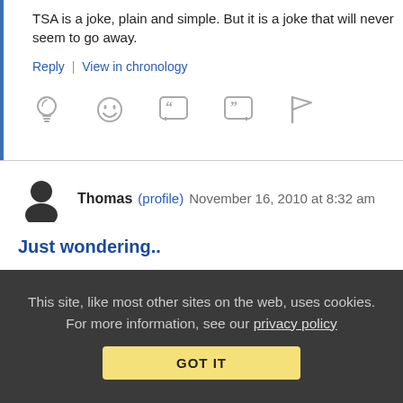TSA is a joke, plain and simple. But it is a joke that will never seem to go away.
Reply | View in chronology
[Figure (other): Row of 5 comment action icons: lightbulb, laugh emoji, open-quote bubble, close-quote bubble, flag]
Thomas (profile)  November 16, 2010 at 8:32 am
Just wondering..
if the TSA is really just trying to stop people from flying at all?
This site, like most other sites on the web, uses cookies. For more information, see our privacy policy
GOT IT